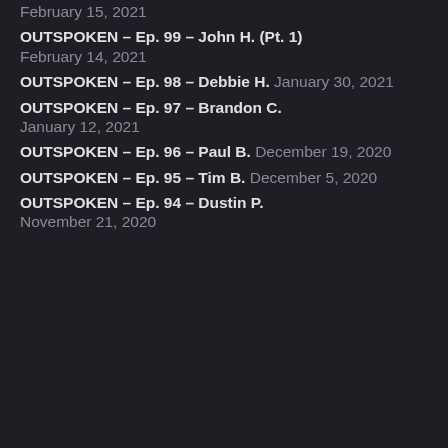February 15, 2021
OUTSPOKEN – Ep. 99 – John H. (Pt. 1)
February 14, 2021
OUTSPOKEN – Ep. 98 – Debbie H. January 30, 2021
OUTSPOKEN – Ep. 97 – Brandon C.
January 12, 2021
OUTSPOKEN – Ep. 96 – Paul B. December 19, 2020
OUTSPOKEN – Ep. 95 – Tim B. December 5, 2020
OUTSPOKEN – Ep. 94 – Dustin P.
November 21, 2020